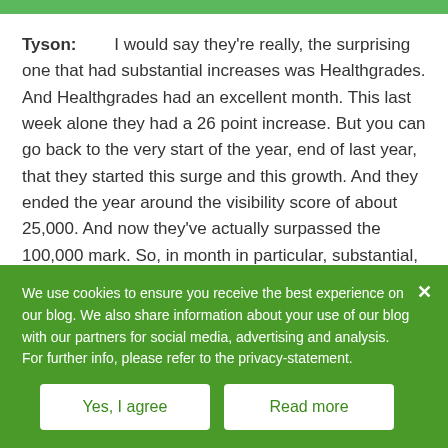Tyson: I would say they're really, the surprising one that had substantial increases was Healthgrades. And Healthgrades had an excellent month. This last week alone they had a 26 point increase. But you can go back to the very start of the year, end of last year, that they started this surge and this growth. And they ended the year around the visibility score of about 25,000. And now they've actually surpassed the 100,000 mark. So, in month in particular, substantial, I'd say roughly estimating
We use cookies to ensure you receive the best experience on our blog. We also share information about your use of our blog with our partners for social media, advertising and analysis. For further info, please refer to the privacy-statement.
Yes, I agree
Read more